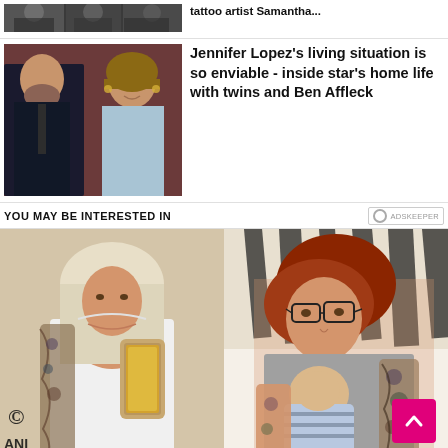[Figure (photo): Partial view of people at an event (top strip)]
tattoo artist Samantha...
[Figure (photo): Ben Affleck and Jennifer Lopez posing together at an event]
Jennifer Lopez’s living situation is so enviable - inside star’s home life with twins and Ben Affleck
YOU MAY BE INTERESTED IN
[Figure (photo): Woman with tattoos taking a mirror selfie in a white bodysuit holding a phone]
[Figure (photo): Red-haired woman with glasses holding a baby, both with visible tattoos, zebra print background]